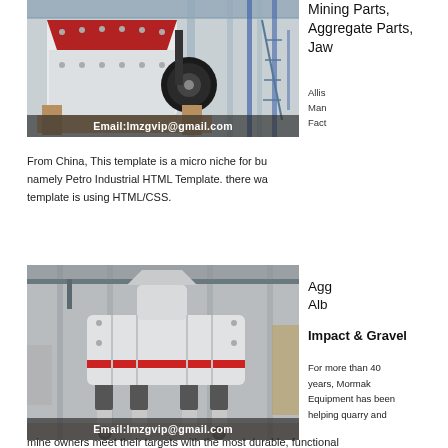[Figure (photo): Industrial impact crusher/mining machine in a factory setting, white and red machinery]
Email:lmzgvip@gmail.com
Mining Parts,
Aggregate Parts,
Jaw
Allis
Man
Fact
[Figure (photo): 24/7 Online customer service representative wearing headset, woman in blue jacket]
Have any requests, click here.
Quotation
From China, This template is a micro niche for bu namely Petro Industrial HTML Template. there wa template is using HTML/CSS.
[Figure (photo): Large white cone/spring crusher machine in a factory warehouse setting]
Email:lmzgvip@gmail.com
Agg
Alb
Impact & Gravel
For more than 40 years, Mormak Equipment has been helping quarry and mine owners meet their targets with the most durable, functional